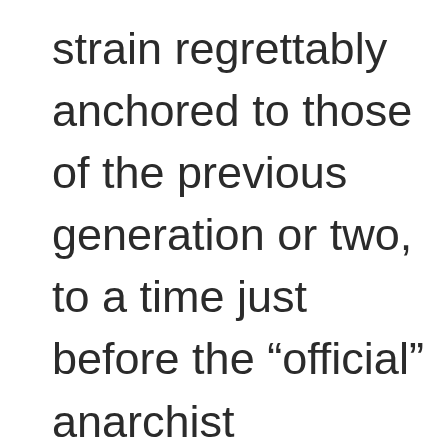strain regrettably anchored to those of the previous generation or two, to a time just before the “official” anarchist